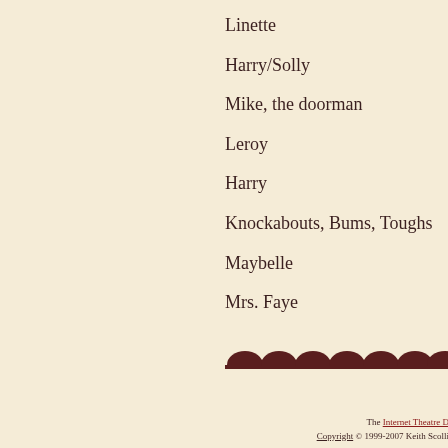Linette
Harry/Solly
Mike, the doorman
Leroy
Harry
Knockabouts, Bums, Toughs
Maybelle
Mrs. Faye
[Figure (illustration): Theater seats silhouette decoration — a row of dark brown theater seat backs along a horizontal line]
The Internet Theatre Da Copyright © 1999-2007 Keith Scollic